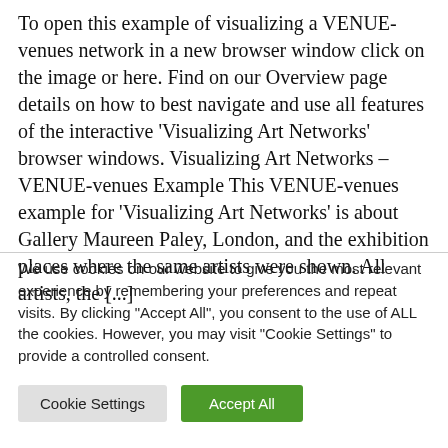To open this example of visualizing a VENUE-venues network in a new browser window click on the image or here. Find on our Overview page details on how to best navigate and use all features of the interactive 'Visualizing Art Networks' browser windows. Visualizing Art Networks – VENUE-venues Example This VENUE-venues example for 'Visualizing Art Networks' is about Gallery Maureen Paley, London, and the exhibition places where the same artists were shown. All artists, the [...]
We use cookies on our website to give you the most relevant experience by remembering your preferences and repeat visits. By clicking "Accept All", you consent to the use of ALL the cookies. However, you may visit "Cookie Settings" to provide a controlled consent.